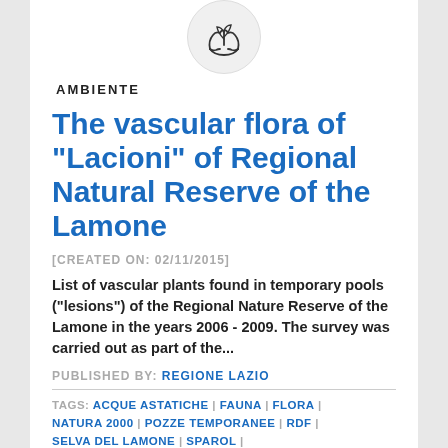[Figure (logo): Hands holding a plant/leaf icon inside a circle, line art style]
AMBIENTE
The vascular flora of "Lacioni" of Regional Natural Reserve of the Lamone
[CREATED ON: 02/11/2015]
List of vascular plants found in temporary pools ("lesions") of the Regional Nature Reserve of the Lamone in the years 2006 - 2009. The survey was carried out as part of the...
PUBLISHED BY: REGIONE LAZIO
TAGS: ACQUE ASTATICHE | FAUNA | FLORA | NATURA 2000 | POZZE TEMPORANEE | RDF | SELVA DEL LAMONE | SPAROL |